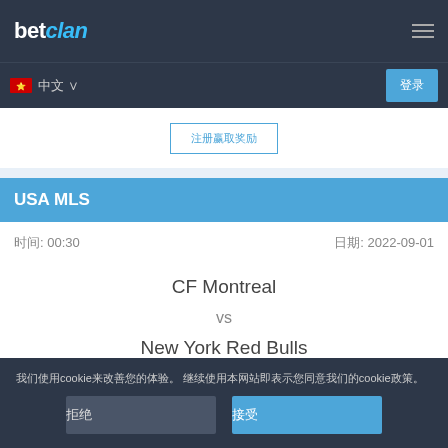betclan
中文 ∨
登录
注册
USA MLS
时间: 00:30   日期: 2022-09-01
CF Montreal vs New York Red Bulls
我们使用cookie来改善您的体验。 继续使用本网站即表示您同意我们的cookie政策。
拒绝  接受